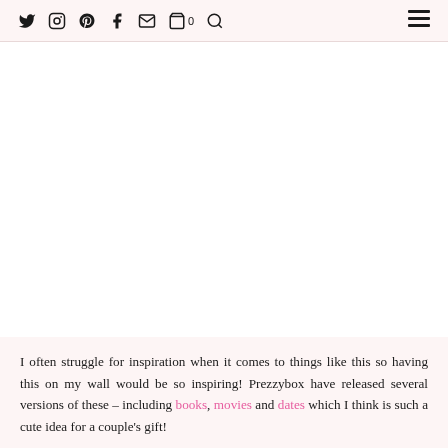Social media navigation icons: Twitter, Instagram, Pinterest, Facebook, Email, Cart (0), Search, Menu
[Figure (photo): Large white/blank image placeholder area]
I often struggle for inspiration when it comes to things like this so having this on my wall would be so inspiring! Prezzybox have released several versions of these – including books, movies and dates which I think is such a cute idea for a couple's gift!